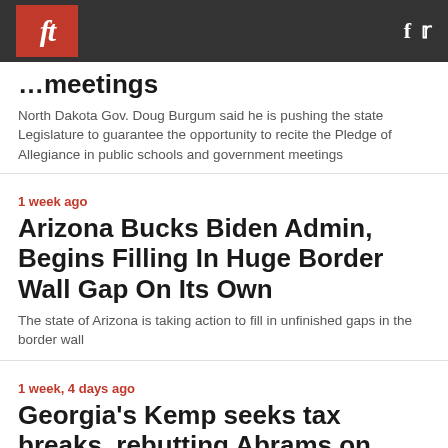ft [logo] f [twitter]
…meetings
North Dakota Gov. Doug Burgum said he is pushing the state Legislature to guarantee the opportunity to recite the Pledge of Allegiance in public schools and government meetings
1 week ago
Arizona Bucks Biden Admin, Begins Filling In Huge Border Wall Gap On Its Own
The state of Arizona is taking action to fill in unfinished gaps in the border wall
1 week, 4 days ago
Georgia's Kemp seeks tax breaks, rebutting Abrams on economy
Georgia GOP Gov. Brian Kemp unfurled the first major policy proposals of his reelection bid Thursday